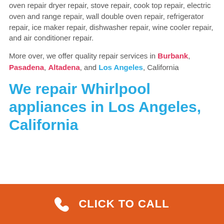oven repair dryer repair, stove repair, cook top repair, electric oven and range repair, wall double oven repair, refrigerator repair, ice maker repair, dishwasher repair, wine cooler repair, and air conditioner repair.
More over, we offer quality repair services in Burbank, Pasadena, Altadena, and Los Angeles, California
We repair Whirlpool appliances in Los Angeles, California
CLICK TO CALL